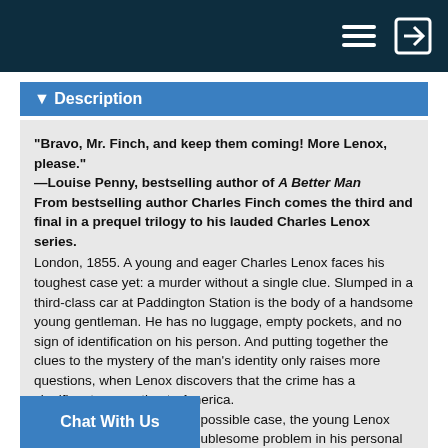[Navigation header with hamburger menu and login icons]
▼ Description
"Bravo, Mr. Finch, and keep them coming! More Lenox, please." —Louise Penny, bestselling author of A Better Man
From bestselling author Charles Finch comes the third and final in a prequel trilogy to his lauded Charles Lenox series.
London, 1855. A young and eager Charles Lenox faces his toughest case yet: a murder without a single clue. Slumped in a third-class car at Paddington Station is the body of a handsome young gentleman. He has no luggage, empty pockets, and no sign of identification on his person. And putting together the clues to the mystery of the man's identity only raises more questions, when Lenox discovers that the crime has a significant connection to America.
As he seeks to solve this impossible case, the young Lenox must confront an equally troublesome problem in his personal life. Kitty Ashbrook, beautiful and cultured, appears to be his soulmate—but love comes with obstacles of its own. In tandem, this fiendish early case and passionate, deeply felt affair will irrevocably shape the brilliant detective and thoughtful [man Lenox] is destined to become.
[With Charles] Finch's unmistakably witty and graceful [...passenger] is a cunning, thrilling, and deeply
Chat With Us